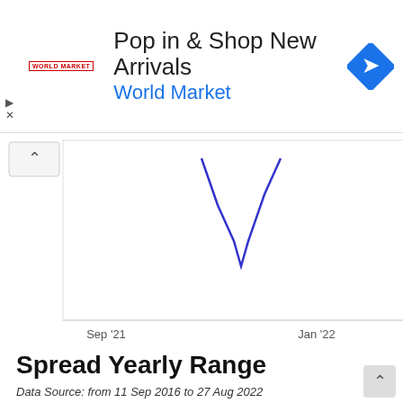[Figure (other): Advertisement banner for World Market: 'Pop in & Shop New Arrivals' with World Market logo and navigation icon]
[Figure (continuous-plot): Partial line chart showing a V-shaped curve (blue line) with y-axis values -1750 and -2000, x-axis labels Sep '21, Jan '22, May '22. Attributed to Highcharts.com]
Spread Yearly Range
Data Source: from 11 Sep 2016 to 27 Aug 2022
Belgium 15 Years / Russia 15 Years Government Bond spread: historic value range for every year. A green candlestick means that spread variation is negative in the year.
A red candlestick means that spread variation is positive in the year.